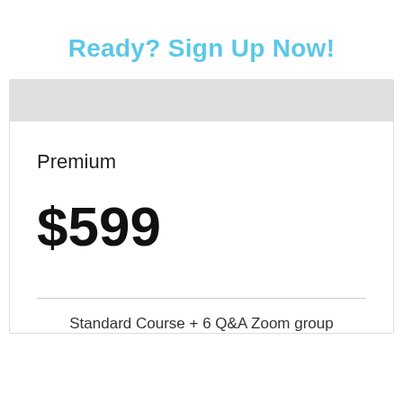Ready? Sign Up Now!
Premium
$599
Standard Course + 6 Q&A Zoom group